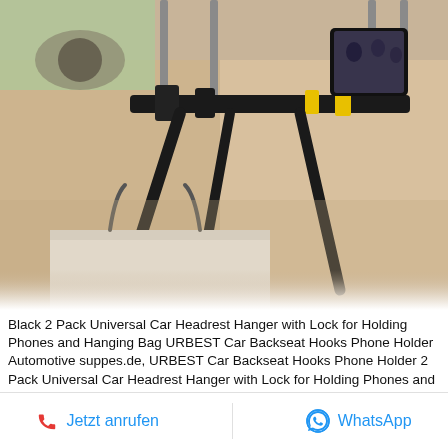[Figure (photo): Car headrest hanger with phone holder and bag hooks mounted on car seat headrest poles. A smartphone displays a video on the mount. A shopping bag hangs below. The car interior is beige/tan leather.]
Black 2 Pack Universal Car Headrest Hanger with Lock for Holding Phones and Hanging Bag URBEST Car Backseat Hooks Phone Holder Automotive suppes.de, URBEST Car Backseat Hooks Phone Holder 2 Pack Universal Car Headrest Hanger with Lock for Holding Phones and
Jetzt anrufen
WhatsApp